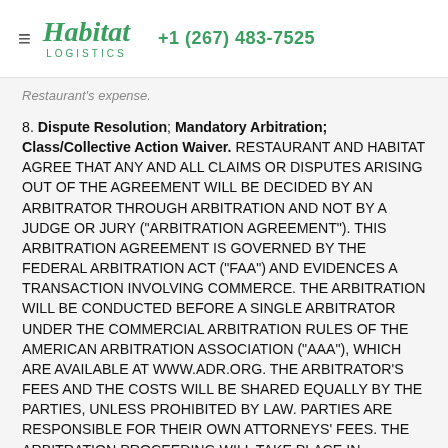Habitat Logistics | +1 (267) 483-7525
Restaurant's expense.
8. Dispute Resolution; Mandatory Arbitration; Class/Collective Action Waiver. RESTAURANT AND HABITAT AGREE THAT ANY AND ALL CLAIMS OR DISPUTES ARISING OUT OF THE AGREEMENT WILL BE DECIDED BY AN ARBITRATOR THROUGH ARBITRATION AND NOT BY A JUDGE OR JURY ("ARBITRATION AGREEMENT"). THIS ARBITRATION AGREEMENT IS GOVERNED BY THE FEDERAL ARBITRATION ACT ("FAA") AND EVIDENCES A TRANSACTION INVOLVING COMMERCE. THE ARBITRATION WILL BE CONDUCTED BEFORE A SINGLE ARBITRATOR UNDER THE COMMERCIAL ARBITRATION RULES OF THE AMERICAN ARBITRATION ASSOCIATION ("AAA"), WHICH ARE AVAILABLE AT WWW.ADR.ORG. THE ARBITRATOR'S FEES AND THE COSTS WILL BE SHARED EQUALLY BY THE PARTIES, UNLESS PROHIBITED BY LAW. PARTIES ARE RESPONSIBLE FOR THEIR OWN ATTORNEYS' FEES. THE ARBITRATION PROCEEDING WILL TAKE PLACE IN PHILADELPHIA, PA UNLESS OTHERWISE AGREED. A COURT OF COMPETENT JURISDICTION WILL HAVE THE AUTHORITY TO ENTER JUDGMENT ON THE ARBITRATOR'S